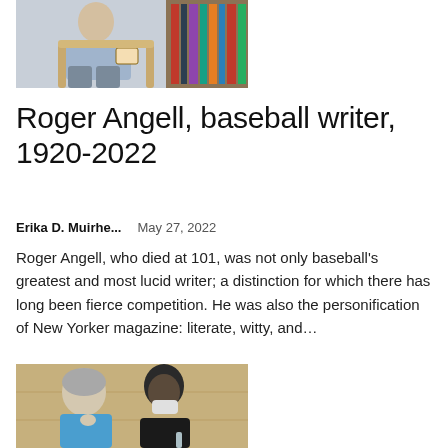[Figure (photo): Man sitting in a chair holding a book, bookshelves in background]
Roger Angell, baseball writer, 1920-2022
Erika D. Muirhe...    May 27, 2022
Roger Angell, who died at 101, was not only baseball’s greatest and most lucid writer; a distinction for which there has long been fierce competition. He was also the personification of New Yorker magazine: literate, witty, and…
[Figure (photo): Two people seated, one woman with grey hair in blue top and one person with dark hair wearing a mask, in front of a wooden panel background]